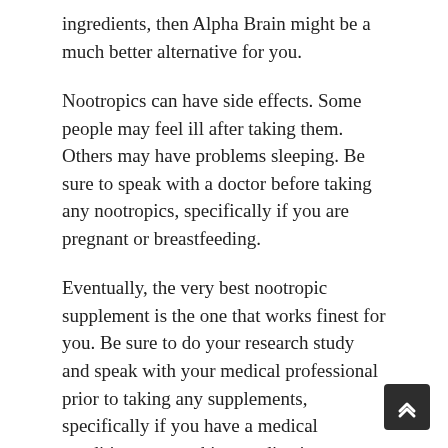ingredients, then Alpha Brain might be a much better alternative for you.
Nootropics can have side effects. Some people may feel ill after taking them. Others may have problems sleeping. Be sure to speak with a doctor before taking any nootropics, specifically if you are pregnant or breastfeeding.
Eventually, the very best nootropic supplement is the one that works finest for you. Be sure to do your research study and speak with your medical professional prior to taking any supplements, specifically if you have a medical condition or are taking medication.
HOW EFFECTIVE ARE NOOTROPICS AT IMPROVING